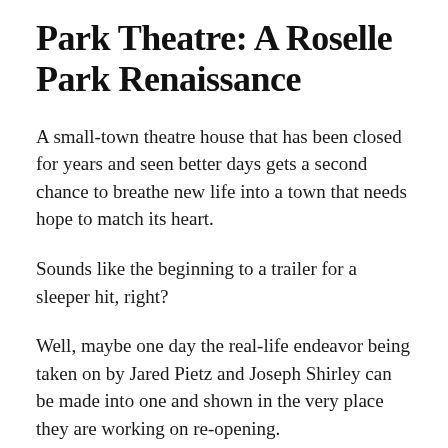Park Theatre: A Roselle Park Renaissance
A small-town theatre house that has been closed for years and seen better days gets a second chance to breathe new life into a town that needs hope to match its heart.
Sounds like the beginning to a trailer for a sleeper hit, right?
Well, maybe one day the real-life endeavor being taken on by Jared Pietz and Joseph Shirley can be made into one and shown in the very place they are working on re-opening.
Park Theatre.
Throughout the years since the 1920s, the theatre